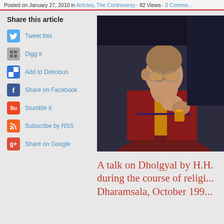Posted on January 27, 2010 in Articles, The Controversy · 82 Views · 0 Comments
Share this article
Tweet this
Digg it
Add to Delicious
Share on Facebook
Stumble it
Subscribe by RSS
Share on Google
[Figure (photo): Portrait photo of the Dalai Lama wearing red and yellow robes and glasses, with hands clasped near face, smiling]
A talk on Dholgyal by H.H. during the course of religious teachings in Dharamsala, October 199...